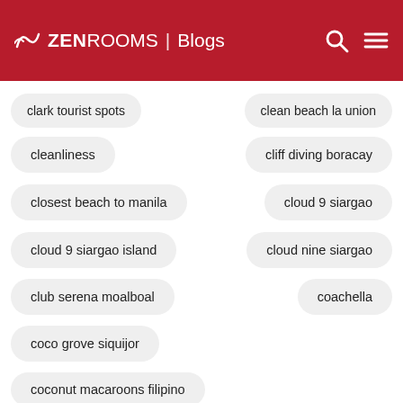ZENROOMS | Blogs
clark tourist spots
clean beach la union
cleanliness
cliff diving boracay
closest beach to manila
cloud 9 siargao
cloud 9 siargao island
cloud nine siargao
club serena moalboal
coachella
coco grove siquijor
coconut macaroons filipino
coffee shop in rizal
coffee shops in rizal
colleges in metro manila